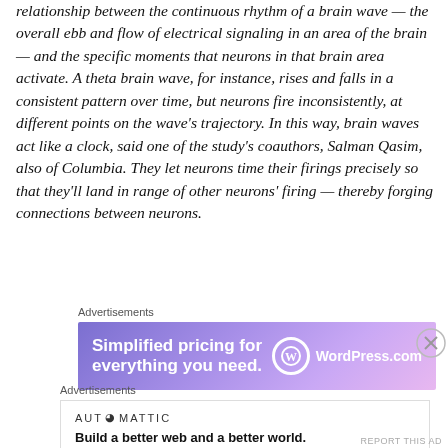relationship between the continuous rhythm of a brain wave — the overall ebb and flow of electrical signaling in an area of the brain — and the specific moments that neurons in that brain area activate. A theta brain wave, for instance, rises and falls in a consistent pattern over time, but neurons fire inconsistently, at different points on the wave's trajectory. In this way, brain waves act like a clock, said one of the study's coauthors, Salman Qasim, also of Columbia. They let neurons time their firings precisely so that they'll land in range of other neurons' firing — thereby forging connections between neurons.
[Figure (other): WordPress.com advertisement banner: 'Simplified pricing for everything you need.' with WordPress logo]
[Figure (other): Automattic advertisement: 'Build a better web and a better world.']